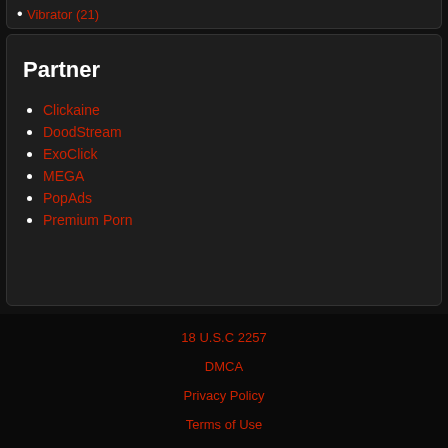Vibrator (21)
Partner
Clickaine
DoodStream
ExoClick
MEGA
PopAds
Premium Porn
18 U.S.C 2257
DMCA
Privacy Policy
Terms of Use